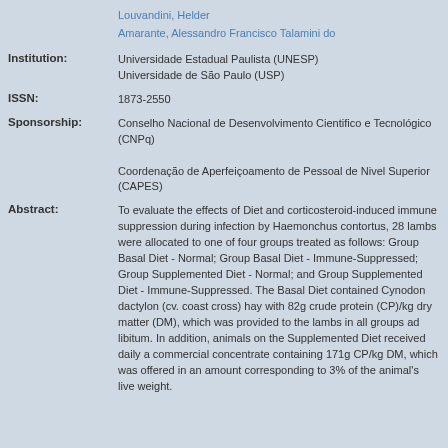Louvandini, Helder
Amarante, Alessandro Francisco Talamini do
Institution: Universidade Estadual Paulista (UNESP)
Universidade de São Paulo (USP)
ISSN: 1873-2550
Sponsorship: Conselho Nacional de Desenvolvimento Cientifico e Tecnológico (CNPq)
Coordenação de Aperfeiçoamento de Pessoal de Nivel Superior (CAPES)
Abstract: To evaluate the effects of Diet and corticosteroid-induced immune suppression during infection by Haemonchus contortus, 28 lambs were allocated to one of four groups treated as follows: Group Basal Diet - Normal; Group Basal Diet - Immune-Suppressed; Group Supplemented Diet - Normal; and Group Supplemented Diet - Immune-Suppressed. The Basal Diet contained Cynodon dactylon (cv. coast cross) hay with 82g crude protein (CP)/kg dry matter (DM), which was provided to the lambs in all groups ad libitum. In addition, animals on the Supplemented Diet received daily a commercial concentrate containing 171g CP/kg DM, which was offered in an amount corresponding to 3% of the animal's live weight.